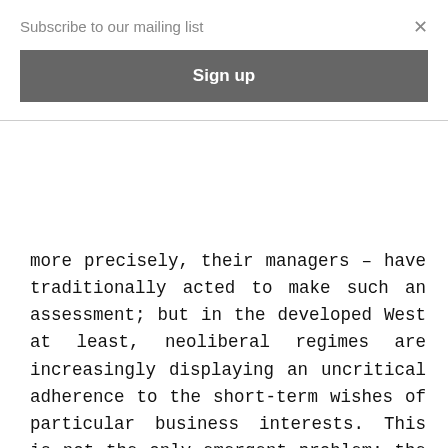Subscribe to our mailing list
×
Sign up
more precisely, their managers – have traditionally acted to make such an assessment; but in the developed West at least, neoliberal regimes are increasingly displaying an uncritical adherence to the short-term wishes of particular business interests. This is not the only emergent problem: the increasingly narrow parameters of neoliberal politics, where choice is restricted to 'social' rather than 'economic' issues, has encouraged the emergence of far-right parties, usually fixated on questions of migration, which have proved enormously divisive in working-class communities, but whose policies are in